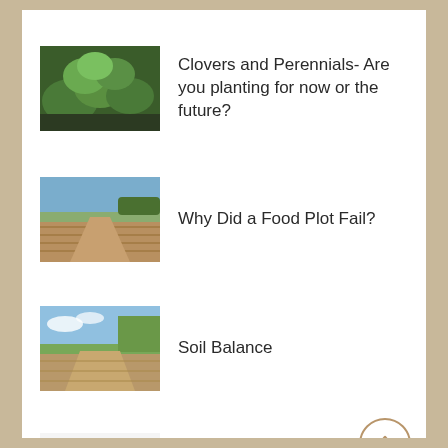Clovers and Perennials- Are you planting for now or the future?
Why Did a Food Plot Fail?
Soil Balance
Defining Success